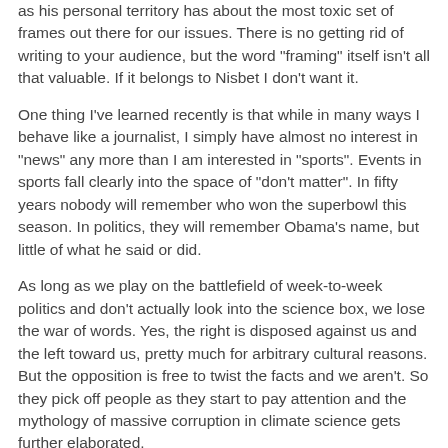as his personal territory has about the most toxic set of frames out there for our issues. There is no getting rid of writing to your audience, but the word "framing" itself isn't all that valuable. If it belongs to Nisbet I don't want it.
One thing I've learned recently is that while in many ways I behave like a journalist, I simply have almost no interest in "news" any more than I am interested in "sports". Events in sports fall clearly into the space of "don't matter". In fifty years nobody will remember who won the superbowl this season. In politics, they will remember Obama's name, but little of what he said or did.
As long as we play on the battlefield of week-to-week politics and don't actually look into the science box, we lose the war of words. Yes, the right is disposed against us and the left toward us, pretty much for arbitrary cultural reasons. But the opposition is free to twist the facts and we aren't. So they pick off people as they start to pay attention and the mythology of massive corruption in climate science gets further elaborated.